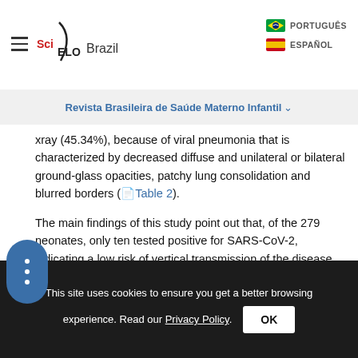SciELO Brazil | PORTUGUÊS | ESPAÑOL
Revista Brasileira de Saúde Materno Infantil
xray (45.34%), because of viral pneumonia that is characterized by decreased diffuse and unilateral or bilateral ground-glass opacities, patchy lung consolidation and blurred borders ( Table 2).
The main findings of this study point out that, of the 279 neonates, only ten tested positive for SARS-CoV-2, indicating a low risk of vertical transmission of the disease ( Table 3). Delivery outcomes, characteristics of infants at birth and evidence of vertical transmission are also displayed in Table 3.
This site uses cookies to ensure you get a better browsing experience. Read our Privacy Policy.